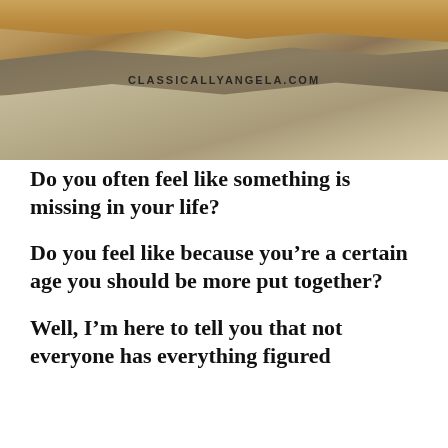[Figure (photo): Aerial or close-up photograph of layered rocky desert terrain with sandy tan, brown, and grey rock formations. Watermark text 'CLASSICALLYANGELA.COM' overlaid in the center.]
Do you often feel like something is missing in your life?
Do you feel like because you’re a certain age you should be more put together?
Well, I’m here to tell you that not everyone has everything figured